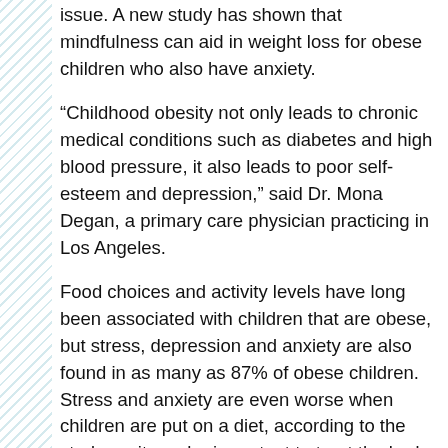issue. A new study has shown that mindfulness can aid in weight loss for obese children who also have anxiety.
“Childhood obesity not only leads to chronic medical conditions such as diabetes and high blood pressure, it also leads to poor self-esteem and depression,” said Dr. Mona Degan, a primary care physician practicing in Los Angeles.
Food choices and activity levels have long been associated with children that are obese, but stress, depression and anxiety are also found in as many as 87% of obese children. Stress and anxiety are even worse when children are put on a diet, according to the study, so it can be important to treat the body and the mind.
Researchers tested the effects of mindfulness on